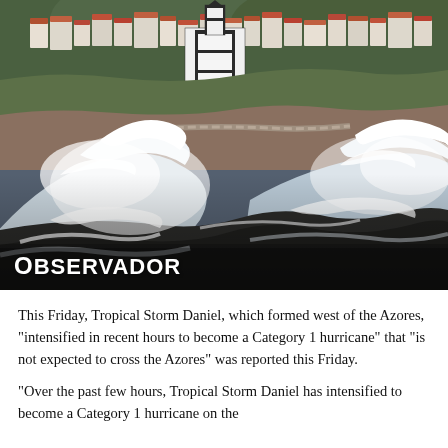[Figure (photo): Photograph of large ocean waves crashing against rocky shoreline with a coastal town visible in the background, featuring white buildings and a prominent black and white church on a cliff. Dramatic storm waves with white spray fill the foreground.]
OBSERVADOR
This Friday, Tropical Storm Daniel, which formed west of the Azores, “intensified in recent hours to become a Category 1 hurricane” that “is not expected to cross the Azores” was reported this Friday.
“Over the past few hours, Tropical Storm Daniel has intensified to become a Category 1 hurricane on the Saffir-Simpson scale” the Portuguese American Journal of the Azores reported.